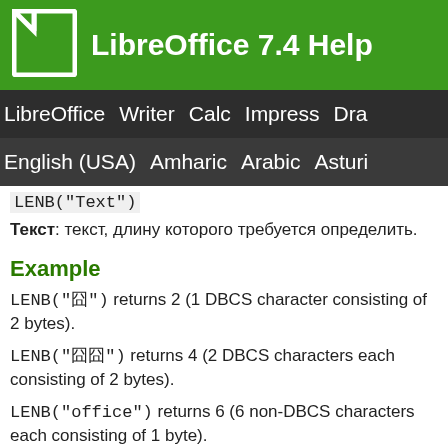LibreOffice 7.4 Help
LibreOffice Writer Calc Impress Draw
English (USA) Amharic Arabic Asturian
LENB("Text")
Текст: текст, длину которого требуется определить.
Example
LENB("囧") returns 2 (1 DBCS character consisting of 2 bytes).
LENB("囧囧") returns 4 (2 DBCS characters each consisting of 2 bytes).
LENB("office") returns 6 (6 non-DBCS characters each consisting of 1 byte).